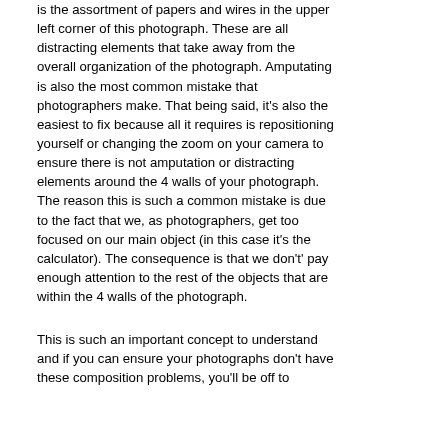is the assortment of papers and wires in the upper left corner of this photograph. These are all distracting elements that take away from the overall organization of the photograph. Amputating is also the most common mistake that photographers make. That being said, it's also the easiest to fix because all it requires is repositioning yourself or changing the zoom on your camera to ensure there is not amputation or distracting elements around the 4 walls of your photograph. The reason this is such a common mistake is due to the fact that we, as photographers, get too focused on our main object (in this case it's the calculator). The consequence is that we don't' pay enough attention to the rest of the objects that are within the 4 walls of the photograph.
This is such an important concept to understand and if you can ensure your photographs don't have these composition problems, you'll be off to